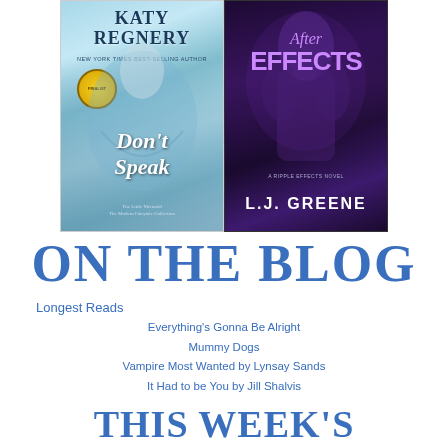[Figure (illustration): Two book covers side by side: left is 'Don't Speak' by Katy Regnery (New York Times Best-Selling Author), The Little Mermaid / The Modern Fairytale Collection, with a blue/teal cover; right is 'After Effects' A Ripple Effects Novel by L.J. Greene, with a dark purple cover.]
ON THE BLOG
Longest Reads
Everything's Gonna Be Alright
Mummy Dogs
Vampire Most Wanted by Lynsay Sands
It Had to be You by Jill Shalvis
THIS WEEK'S PLANNER